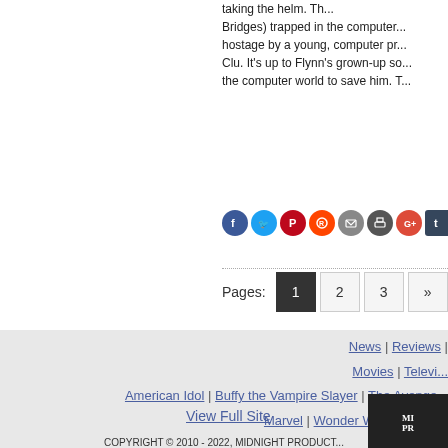taking the helm. Th... Bridges) trapped in the computer... hostage by a young, computer pr... Clu. It's up to Flynn's grown-up so... the computer world to save him. T...
[Figure (infographic): Row of social share icons: Facebook, Twitter, Pinterest, Reddit, Email, Print, Google+, Tumblr]
Pages: 1 2 3 »
News | Reviews | Movies | Televi... American Idol | Buffy the Vampire Slayer | The Avenge... Marvel | Wonder Woman | Bat...
View Full Site
[Figure (logo): Midnight Productions logo partially visible - MI PR letters on dark background]
COPYRIGHT © 2010 - 2022, MIDNIGHT PRODUCT...